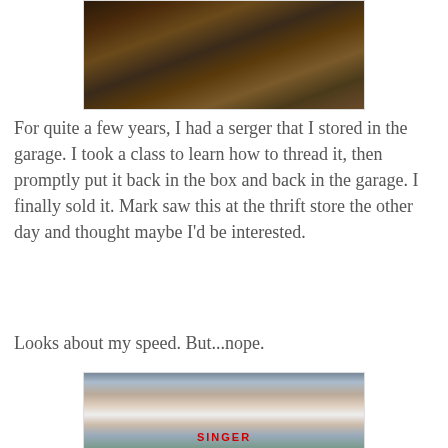[Figure (photo): Partial photo at top of page showing what appears to be a furry animal or fur texture, cropped at the top]
For quite a few years, I had a serger that I stored in the garage. I took a class to learn how to thread it, then promptly put it back in the box and back in the garage. I finally sold it. Mark saw this at the thrift store the other day and thought maybe I'd be interested.
Looks about my speed. But...nope.
[Figure (photo): Photo of a white Singer serger sewing machine on a table at a thrift store, with the red SINGER logo visible, surrounded by various store items in the background]